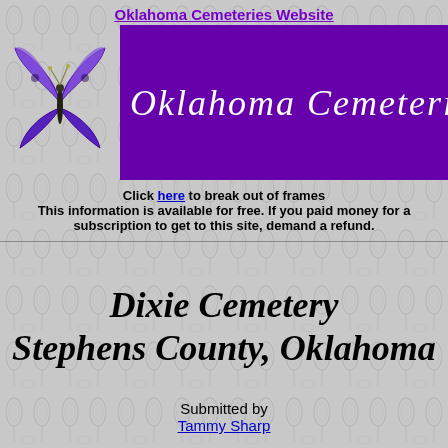Oklahoma Cemeteries Website
[Figure (illustration): Purple butterfly illustration on gray textured background]
[Figure (illustration): Purple banner with white italic cursive text reading 'Oklahoma Cemeteries']
Click here to break out of frames
This information is available for free. If you paid money for a subscription to get to this site, demand a refund.
Dixie Cemetery
Stephens County, Oklahoma
Submitted by
Tammy Sharp